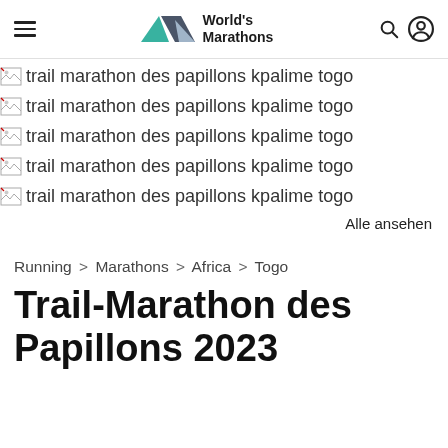World's Marathons
[Figure (photo): Broken image placeholder: trail marathon des papillons kpalime togo (repeated 5 times)]
Alle ansehen
Running > Marathons > Africa > Togo
Trail-Marathon des Papillons 2023